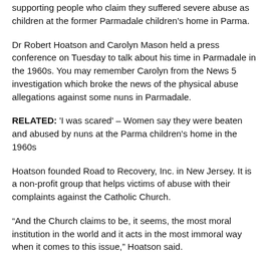supporting people who claim they suffered severe abuse as children at the former Parmadale children's home in Parma.
Dr Robert Hoatson and Carolyn Mason held a press conference on Tuesday to talk about his time in Parmadale in the 1960s. You may remember Carolyn from the News 5 investigation which broke the news of the physical abuse allegations against some nuns in Parmadale.
RELATED: 'I was scared' – Women say they were beaten and abused by nuns at the Parma children's home in the 1960s
Hoatson founded Road to Recovery, Inc. in New Jersey. It is a non-profit group that helps victims of abuse with their complaints against the Catholic Church.
“And the Church claims to be, it seems, the most moral institution in the world and it acts in the most immoral way when it comes to this issue,” Hoatson said.